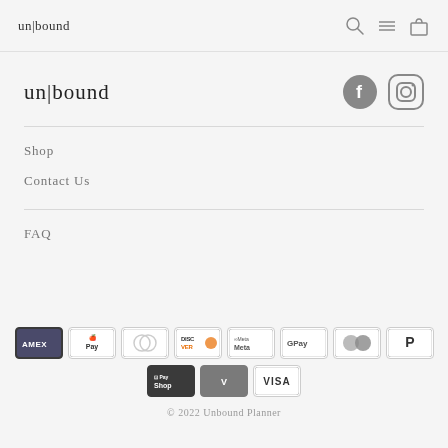un|bound
[Figure (logo): un|bound brand logo in footer with Facebook and Instagram social icons]
Shop
Contact Us
FAQ
[Figure (infographic): Payment method icons: American Express, Apple Pay, Diners Club, Discover, Meta Pay, Google Pay, Mastercard, PayPal, Shop Pay, Venmo, Visa]
© 2022 Unbound Planner